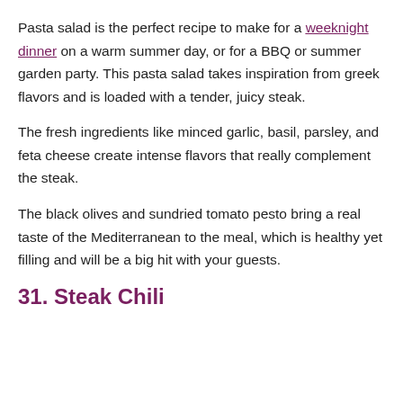Pasta salad is the perfect recipe to make for a weeknight dinner on a warm summer day, or for a BBQ or summer garden party. This pasta salad takes inspiration from greek flavors and is loaded with a tender, juicy steak.
The fresh ingredients like minced garlic, basil, parsley, and feta cheese create intense flavors that really complement the steak.
The black olives and sundried tomato pesto bring a real taste of the Mediterranean to the meal, which is healthy yet filling and will be a big hit with your guests.
31. Steak Chili